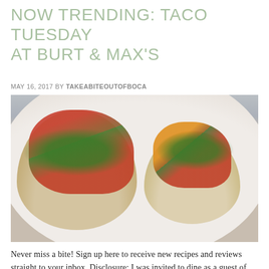NOW TRENDING: TACO TUESDAY AT BURT & MAX'S
MAY 16, 2017 BY TAKEABITEOUTOFBOCA
[Figure (photo): Two tacos on a white plate: left taco has a breaded fish fillet with pico de gallo and cilantro on a corn tortilla; right taco has shrimp with pineapple salsa and cilantro on a corn tortilla.]
Never miss a bite! Sign up here to receive new recipes and reviews straight to your inbox. Disclosure: I was invited to dine as a guest of the restaurant. No monetary compensation has been received for this